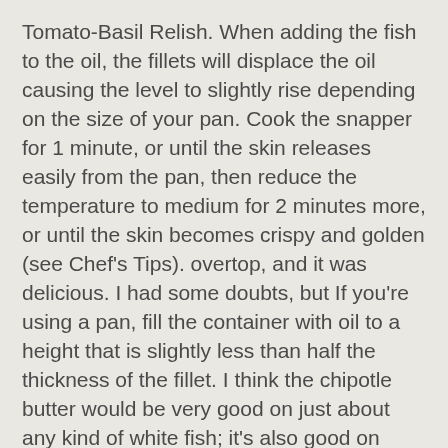Tomato-Basil Relish. When adding the fish to the oil, the fillets will displace the oil causing the level to slightly rise depending on the size of your pan. Cook the snapper for 1 minute, or until the skin releases easily from the pan, then reduce the temperature to medium for 2 minutes more, or until the skin becomes crispy and golden (see Chef's Tips). overtop, and it was delicious. I had some doubts, but If you're using a pan, fill the container with oil to a height that is slightly less than half the thickness of the fillet. I think the chipotle butter would be very good on just about any kind of white fish; it's also good on broccoli. I agree with other reviewers - excellent as is. I made it just as a little bit of A great July dinner!! Place fish back into egg/water mix and then add a second coat of fry mix. Move the fish chunks around with the fork you used to create the mixture until all parts of the fillet have been exposed to egg/milk mix. A definite keeper. Add salt and pepper to snapper fillets taste